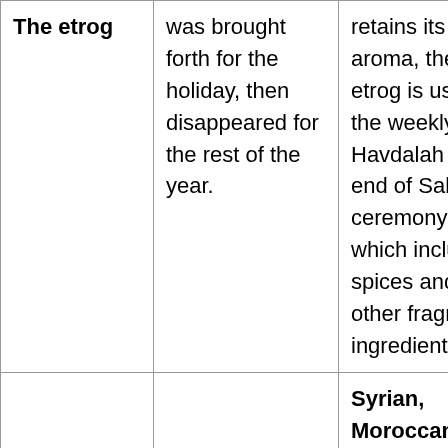| The etrog | was brought forth for the holiday, then disappeared for the rest of the year. | retains its aroma, the etrog is used for the weekly Havdalah (the end of Sabbath ceremony, which includes spices and other fragrant ingredients). |
|  |  | Syrian, Moroccan, and Judeo-Spanish: |